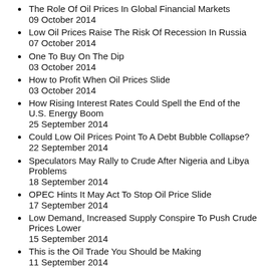The Role Of Oil Prices In Global Financial Markets
09 October 2014
Low Oil Prices Raise The Risk Of Recession In Russia
07 October 2014
One To Buy On The Dip
03 October 2014
How to Profit When Oil Prices Slide
03 October 2014
How Rising Interest Rates Could Spell the End of the U.S. Energy Boom
25 September 2014
Could Low Oil Prices Point To A Debt Bubble Collapse?
22 September 2014
Speculators May Rally to Crude After Nigeria and Libya Problems
18 September 2014
OPEC Hints It May Act To Stop Oil Price Slide
17 September 2014
Low Demand, Increased Supply Conspire To Push Crude Prices Lower
15 September 2014
This is the Oil Trade You Should be Making
11 September 2014
No Rebound In Sight For Sliding Oil Prices
11 September 2014
This Large Cap Explorer is Looking Very Attractive
28 August 2014